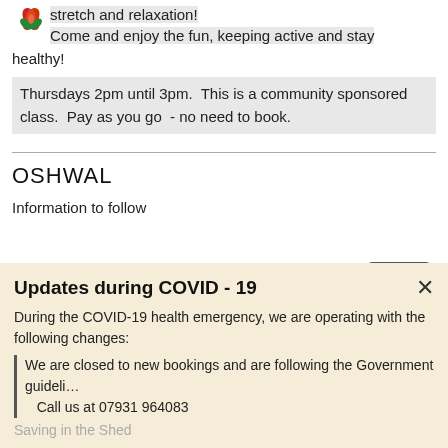[Figure (illustration): Small colorful floral/leaf decorative logo in top left]
stretch and relaxation!
Come and enjoy the fun, keeping active and stay healthy!
Thursdays 2pm until 3pm.  This is a community sponsored class.  Pay as you go  - no need to book.
OSHWAL
Information to follow
[Figure (illustration): Two overlapping card/badge icons in dark grey and blue]
Updates during COVID - 19
During the COVID-19 health emergency, we are operating with the following changes:
We are closed to new bookings and are following the Government guideli…
Call us at 07931 964083
Saving in the Shed